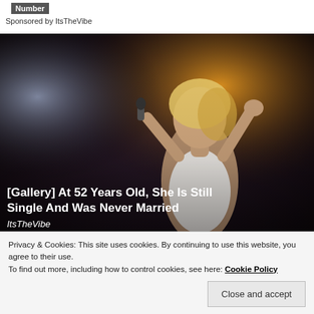Number
Sponsored by ItsTheVibe
[Figure (photo): Woman with blonde hair performing on stage, holding a microphone, wearing a white top, with stage lighting in the background. Overlay text reads: [Gallery] At 52 Years Old, She Is Still Single And Was Never Married. Source: ItsTheVibe]
ItsTheVibe
Privacy & Cookies: This site uses cookies. By continuing to use this website, you agree to their use.
To find out more, including how to control cookies, see here: Cookie Policy
Close and accept